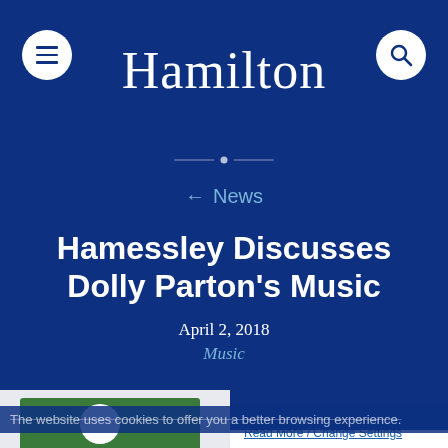Hamilton
← News
Hamessley Discusses Dolly Parton's Music
April 2, 2018
Music
The website uses cookies to offer you a better browsing experience.
Read More / Change Settings